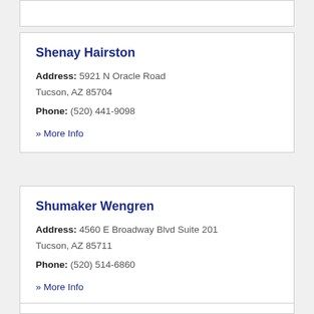Shenay Hairston
Address: 5921 N Oracle Road Tucson, AZ 85704
Phone: (520) 441-9098
» More Info
Shumaker Wengren
Address: 4560 E Broadway Blvd Suite 201 Tucson, AZ 85711
Phone: (520) 514-6860
» More Info